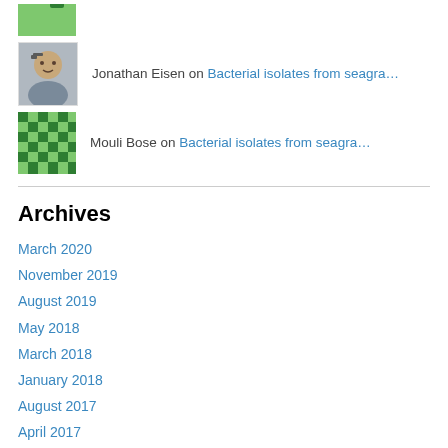[Figure (photo): Partial green patterned avatar icon at top, cropped]
Jonathan Eisen on Bacterial isolates from seagra…
[Figure (photo): Green checkered/patterned avatar icon for Mouli Bose]
Mouli Bose on Bacterial isolates from seagra…
Archives
March 2020
November 2019
August 2019
May 2018
March 2018
January 2018
August 2017
April 2017
January 2017
November 2016